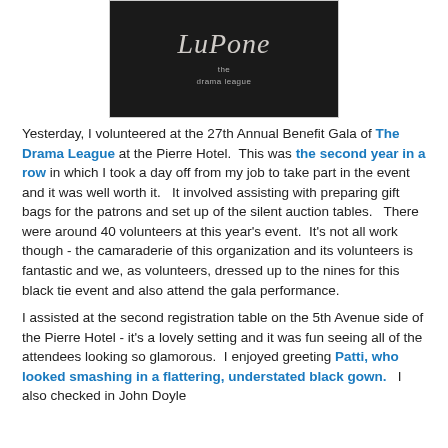[Figure (photo): Dark/black background with 'LuPone' in cursive script and 'the drama league' text below in smaller font, resembling an event program or playbill cover.]
Yesterday, I volunteered at the 27th Annual Benefit Gala of The Drama League at the Pierre Hotel. This was the second year in a row in which I took a day off from my job to take part in the event and it was well worth it. It involved assisting with preparing gift bags for the patrons and set up of the silent auction tables. There were around 40 volunteers at this year's event. It's not all work though - the camaraderie of this organization and its volunteers is fantastic and we, as volunteers, dressed up to the nines for this black tie event and also attend the gala performance.
I assisted at the second registration table on the 5th Avenue side of the Pierre Hotel - it's a lovely setting and it was fun seeing all of the attendees looking so glamorous. I enjoyed greeting Patti, who looked smashing in a flattering, understated black gown. I also checked in John Doyle